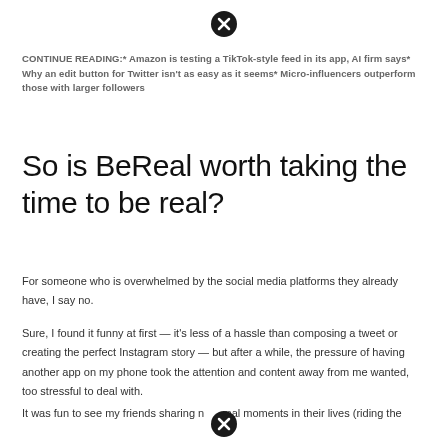[Figure (other): Close/dismiss button (circle with X) at top center]
CONTINUE READING:* Amazon is testing a TikTok-style feed in its app, AI firm says* Why an edit button for Twitter isn't as easy as it seems* Micro-influencers outperform those with larger followers
So is BeReal worth taking the time to be real?
For someone who is overwhelmed by the social media platforms they already have, I say no.
Sure, I found it funny at first — it's less of a hassle than composing a tweet or creating the perfect Instagram story — but after a while, the pressure of having another app on my phone took the attention and content away from me wanted, too stressful to deal with.
It was fun to see my friends sharing normal moments in their lives (riding the
[Figure (other): Close/dismiss button (circle with X) at bottom center]